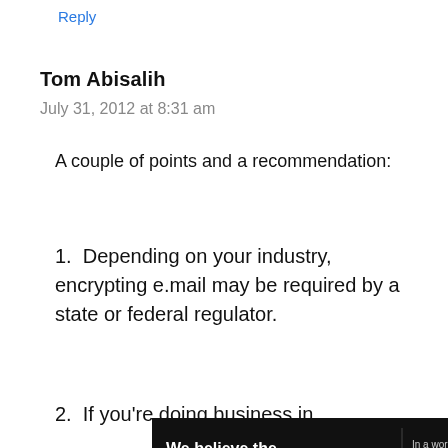Reply
Tom Abisalih
July 31, 2012 at 8:31 am
A couple of points and a recommendation:
1. Depending on your industry, encrypting e.mail may be required by a state or federal regulator.
2. If you're doing business in
[Figure (other): Pure Earth advertisement banner: 'We believe the global pollution crisis can be solved. In a world where pollution doesn't stop at borders, we can all be part of the solution. JOIN US.' with Pure Earth logo.]